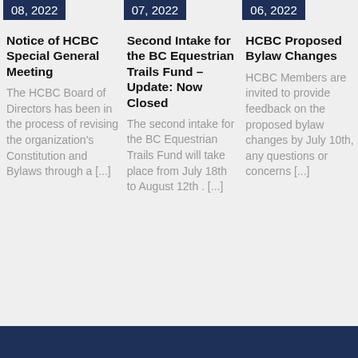08, 2022
Notice of HCBC Special General Meeting
The HCBC Board of Directors has been in the process of revising the organization's Constitution and Bylaws through a [...]
07, 2022
Second Intake for the BC Equestrian Trails Fund – Update: Now Closed
The second intake for the BC Equestrian Trails Fund will take place from July 18th to August 12th . [...]
06, 2022
HCBC Proposed Bylaw Changes
HCBC Members are invited to provide feedback on the proposed bylaw changes by July 10th, any questions or concerns [...]